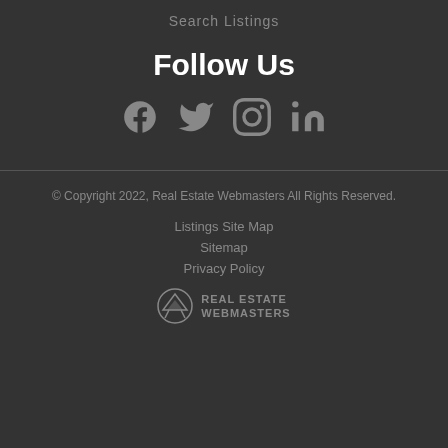Search Listings
Follow Us
[Figure (infographic): Social media icons: Facebook, Twitter, Instagram, LinkedIn]
© Copyright 2022, Real Estate Webmasters All Rights Reserved.
Listings Site Map
Sitemap
Privacy Policy
[Figure (logo): Real Estate Webmasters logo with mountain icon]